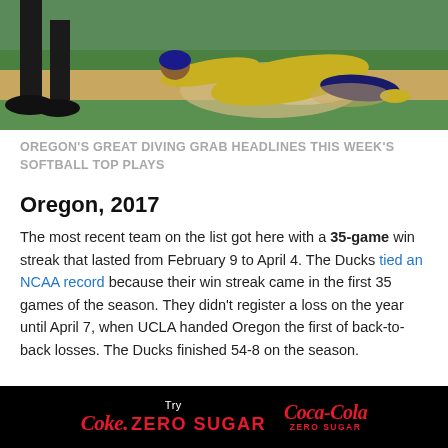[Figure (photo): Action photo of a softball player in yellow/gold uniform making a diving play on a dirt field, with an umpire visible on the left side. Dust cloud visible from the slide.]
OREGON'S GREAT DIVING GRAB HEADLINES THIS WEEK'S SOFTBALL TOP PLAYS
Oregon, 2017
The most recent team on the list got here with a 35-game win streak that lasted from February 9 to April 4. The Ducks tied an NCAA record because their win streak came in the first 35 games of the season. They didn't register a loss on the year until April 7, when UCLA handed Oregon the first of back-to-back losses. The Ducks finished 54-8 on the season.
[Figure (logo): Coca-Cola Zero Sugar advertisement banner on black background with 'Try Coke. ZERO SUGAR' text and Coca-Cola Zero Sugar logo]